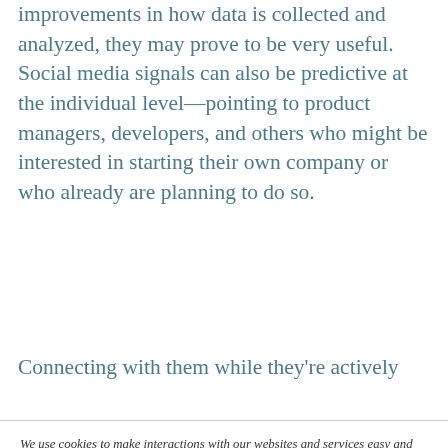improvements in how data is collected and analyzed, they may prove to be very useful. Social media signals can also be predictive at the individual level—pointing to product managers, developers, and others who might be interested in starting their own company or who already are planning to do so.
Connecting with them while they're actively
We use cookies to make interactions with our websites and services easy and meaningful for visitors like you, and to help us better understand how our websites are used so that we can tailor our content, outreach and advertising. You can read more about which cookies we track here, and how to make your cookie choices here and here. By continuing to use this site you are giving us your consent to do this.